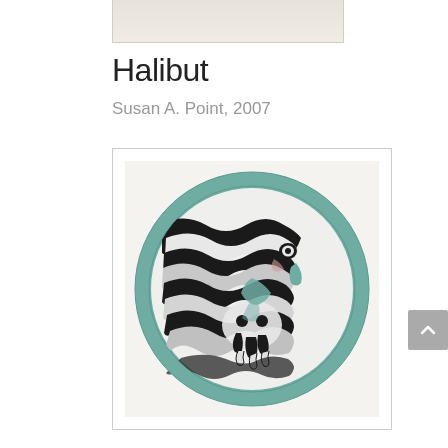[Figure (illustration): Partial top strip of another artwork, cropped at top of page]
Halibut
Susan A. Point, 2007
[Figure (illustration): Indigenous Northwest Coast art print by Susan A. Point titled Halibut, 2007. A circular composition with a teal/green border containing two stylized halibut fish rendered in black, white, and grey with bold wavy stripe patterns in traditional Coast Salish formline design. The fish face each other in a yin-yang-like arrangement with visible eyes, mouths, and tail/fin details in the center.]